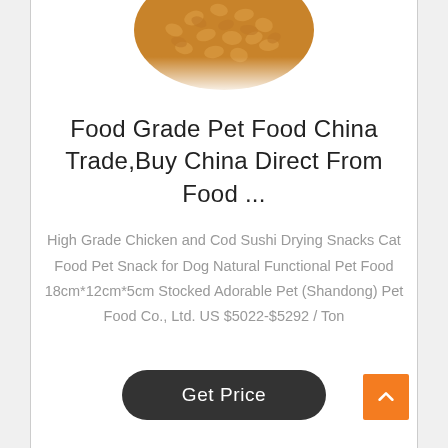[Figure (photo): Partial view of a bowl filled with dry pet food kibble, cropped to show only the top portion of the bowl against a white background.]
Food Grade Pet Food China Trade,Buy China Direct From Food ...
High Grade Chicken and Cod Sushi Drying Snacks Cat Food Pet Snack for Dog Natural Functional Pet Food 18cm*12cm*5cm Stocked Adorable Pet (Shandong) Pet Food Co., Ltd. US $5022-$5292 / Ton